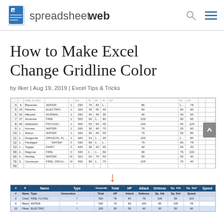spreadsheetweb
How to Make Excel Change Gridline Color
by Ilker | Aug 19, 2019 | Excel Tips & Tricks
[Figure (screenshot): Two Excel spreadsheet screenshots showing a Pokémon data table before (default gridlines) and after (colored gridlines with blue header row) applying gridline color change. An orange down-arrow between the two screenshots indicates the transformation.]